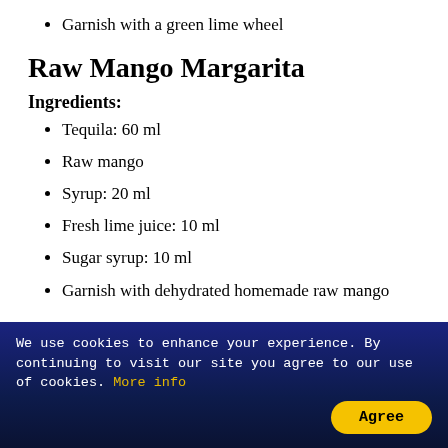Garnish with a green lime wheel
Raw Mango Margarita
Ingredients:
Tequila: 60 ml
Raw mango
Syrup: 20 ml
Fresh lime juice: 10 ml
Sugar syrup: 10 ml
Garnish with dehydrated homemade raw mango
We use cookies to enhance your experience. By continuing to visit our site you agree to our use of cookies. More info